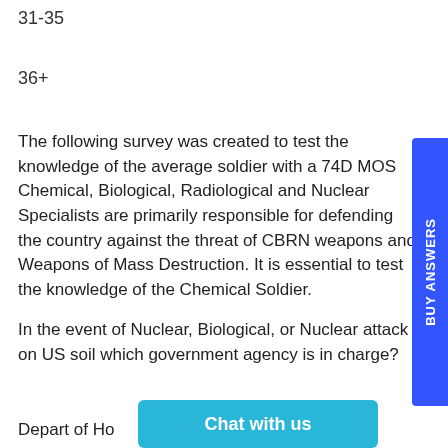31-35
36+
The following survey was created to test the knowledge of the average soldier with a 74D MOS Chemical, Biological, Radiological and Nuclear Specialists are primarily responsible for defending the country against the threat of CBRN weapons and Weapons of Mass Destruction. It is essential to test the knowledge of the Chemical Soldier.
In the event of Nuclear, Biological, or Nuclear attack on US soil which government agency is in charge?
Depart of Ho